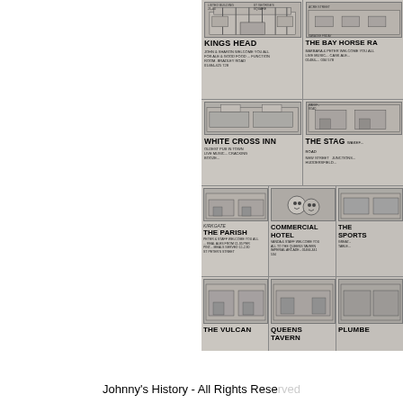[Figure (illustration): Newspaper advertisement page showing multiple Huddersfield pubs and bars including Kings Head, The Bay Horse, White Cross Inn, The Stag, The Parish, Commercial Hotel, The Sports, The Vulcan, Queens Tavern, Plumbers. Each entry has a sketch illustration of the building and brief text description.]
Johnny's History - All Rights Reserved